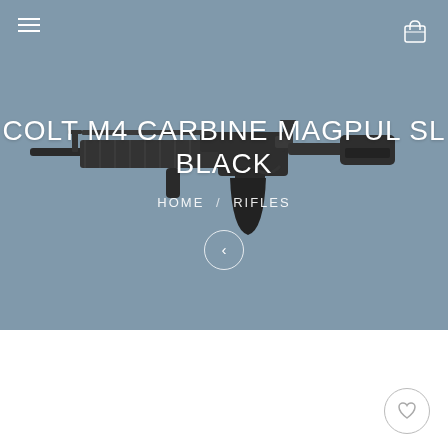[Figure (photo): Hero banner showing a Colt M4 Carbine Magpul SL Black rifle on a grey-blue background. Navigation hamburger menu icon in top-left, shopping bag icon in top-right.]
COLT M4 CARBINE MAGPUL SL BLACK
HOME / RIFLES